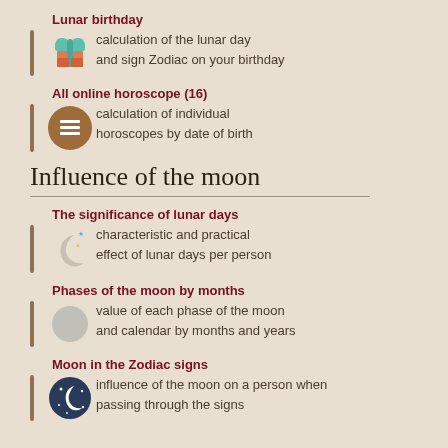Lunar birthday
calculation of the lunar day
and sign Zodiac on your birthday
All online horoscope (16)
calculation of individual
horoscopes by date of birth
Influence of the moon
The significance of lunar days
characteristic and practical
effect of lunar days per person
Phases of the moon by months
value of each phase of the moon
and calendar by months and years
Moon in the Zodiac signs
influence of the moon on a person when
passing through the signs